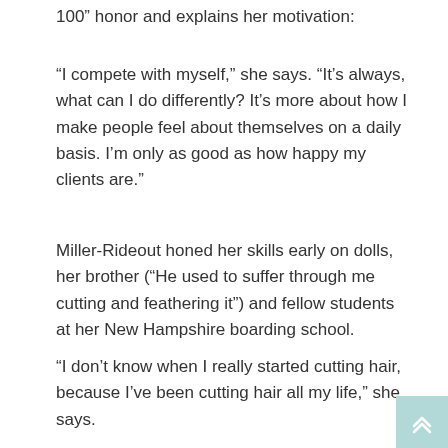100” honor and explains her motivation:
“I compete with myself,” she says. “It’s always, what can I do differently? It’s more about how I make people feel about themselves on a daily basis. I’m only as good as how happy my clients are.”
Miller-Rideout honed her skills early on dolls, her brother (“He used to suffer through me cutting and feathering it”) and fellow students at her New Hampshire boarding school.
“I don’t know when I really started cutting hair, because I’ve been cutting hair all my life,” she says.